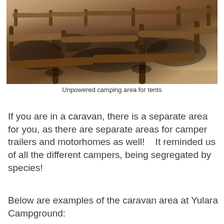[Figure (photo): Outdoor unpowered camping area with red/brown dirt ground, wooden log fence barriers arranged in rows, and dappled tree shadows across the ground.]
Unpowered camping area for tents
If you are in a caravan, there is a separate area for you, as there are separate areas for camper trailers and motorhomes as well!    It reminded us of all the different campers, being segregated by species!
Below are examples of the caravan area at Yulara Campground: